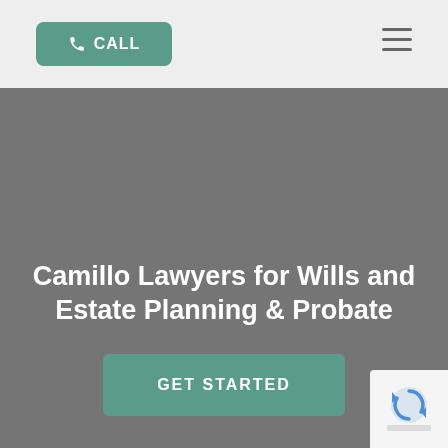CALL (navigation bar with call button and hamburger menu)
Camillo Lawyers for Wills and Estate Planning & Probate
GET STARTED